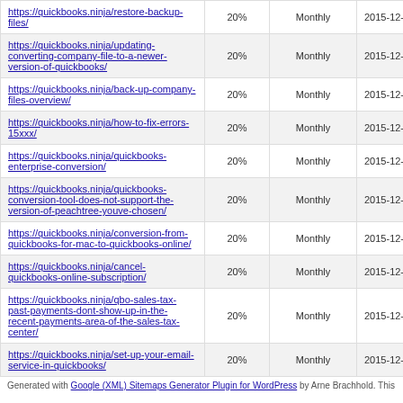| https://quickbooks.ninja/restore-backup-files/ | 20% | Monthly | 2015-12-31 03:57 |
| https://quickbooks.ninja/updating-converting-company-file-to-a-newer-version-of-quickbooks/ | 20% | Monthly | 2015-12-31 03:57 |
| https://quickbooks.ninja/back-up-company-files-overview/ | 20% | Monthly | 2015-12-31 03:57 |
| https://quickbooks.ninja/how-to-fix-errors-15xxx/ | 20% | Monthly | 2015-12-31 03:57 |
| https://quickbooks.ninja/quickbooks-enterprise-conversion/ | 20% | Monthly | 2015-12-31 03:57 |
| https://quickbooks.ninja/quickbooks-conversion-tool-does-not-support-the-version-of-peachtree-youve-chosen/ | 20% | Monthly | 2015-12-31 03:57 |
| https://quickbooks.ninja/conversion-from-quickbooks-for-mac-to-quickbooks-online/ | 20% | Monthly | 2015-12-31 03:57 |
| https://quickbooks.ninja/cancel-quickbooks-online-subscription/ | 20% | Monthly | 2015-12-31 03:57 |
| https://quickbooks.ninja/qbo-sales-tax-past-payments-dont-show-up-in-the-recent-payments-area-of-the-sales-tax-center/ | 20% | Monthly | 2015-12-31 03:57 |
| https://quickbooks.ninja/set-up-your-email-service-in-quickbooks/ | 20% | Monthly | 2015-12-31 03:57 |
Generated with Google (XML) Sitemaps Generator Plugin for WordPress by Arne Brachhold. This